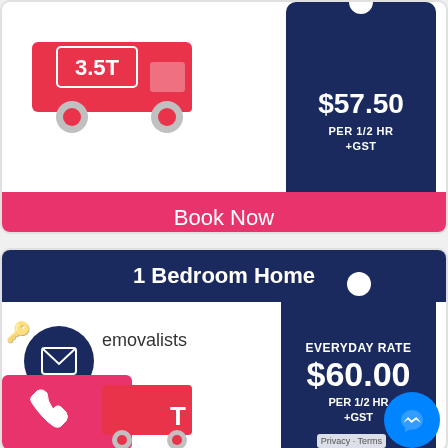[Figure (infographic): Red truck with 3.5T label and dark navy price tag showing price per 1/2 hr +GST (partially cut off at top)]
PER 1/2 HR +GST
Book Now
1 Bedroom Home
[Figure (infographic): Dark navy circle with envelope/mail icon, person silhouette icon, removalists text, 18-21m3 capacity text, red truck illustration, navy price tag showing EVERYDAY RATE $60.00 PER 1/2 HR +GST, messenger icon, privacy-terms link]
removalists
18-21m³ capacity
EVERYDAY RATE
$60.00
PER 1/2 HR +GST
Privacy · Terms